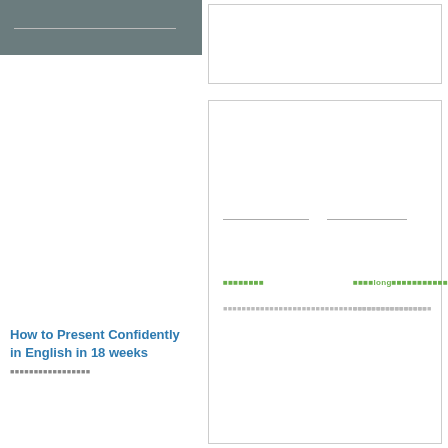How to Present Confidently in English in 18 weeks
How longHow to Present Confidently in English in 18 weeks